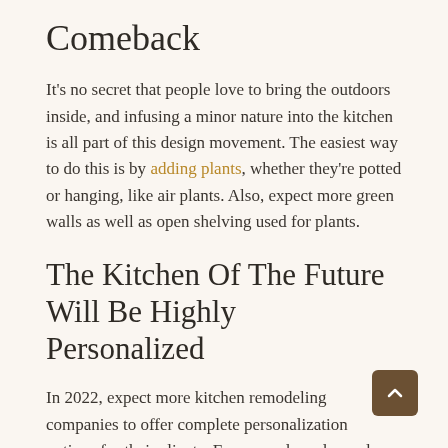Comeback
It's no secret that people love to bring the outdoors inside, and infusing a minor nature into the kitchen is all part of this design movement. The easiest way to do this is by adding plants, whether they're potted or hanging, like air plants. Also, expect more green walls as well as open shelving used for plants.
The Kitchen Of The Future Will Be Highly Personalized
In 2022, expect more kitchen remodeling companies to offer complete personalization options for their clients. For example, color and material choices will expand so homeowners can really express themselves through design. Also, imagine getting a digital rendering of